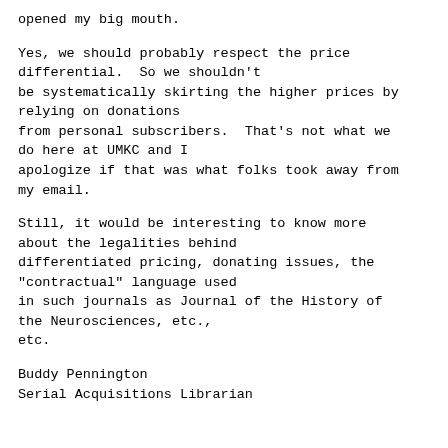opened my big mouth.
Yes, we should probably respect the price differential.  So we shouldn't be systematically skirting the higher prices by relying on donations from personal subscribers.  That's not what we do here at UMKC and I apologize if that was what folks took away from my email.
Still, it would be interesting to know more about the legalities behind differentiated pricing, donating issues, the "contractual" language used in such journals as Journal of the History of the Neurosciences, etc., etc.
Buddy Pennington
Serial Acquisitions Librarian